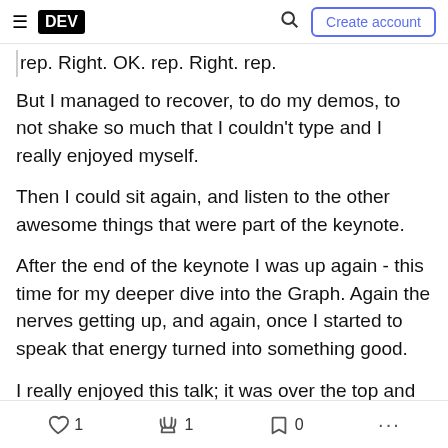DEV | Search | Create account
rep. Right. OK. rep. Right. rep.
But I managed to recover, to do my demos, to not shake so much that I couldn't type and I really enjoyed myself.
Then I could sit again, and listen to the other awesome things that were part of the keynote.
After the end of the keynote I was up again - this time for my deeper dive into the Graph. Again the nerves getting up, and again, once I started to speak that energy turned into something good.
I really enjoyed... (partially visible)
1 like · 1 unicorn · 0 bookmarks · more